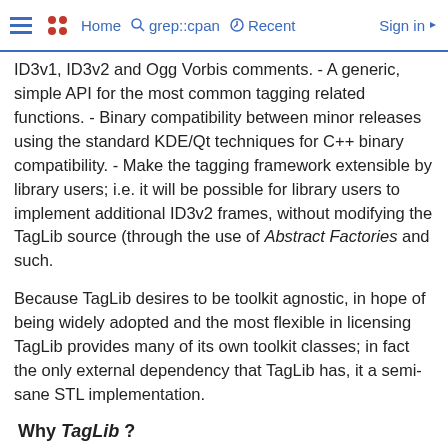Home   grep::cpan   Recent   Sign in
ID3v1, ID3v2 and Ogg Vorbis comments. - A generic, simple API for the most common tagging related functions. - Binary compatibility between minor releases using the standard KDE/Qt techniques for C++ binary compatibility. - Make the tagging framework extensible by library users; i.e. it will be possible for library users to implement additional ID3v2 frames, without modifying the TagLib source (through the use of Abstract Factories and such.
Because TagLib desires to be toolkit agnostic, in hope of being widely adopted and the most flexible in licensing TagLib provides many of its own toolkit classes; in fact the only external dependency that TagLib has, it a semi-sane STL implementation.
Why TagLib ?
TagLib was written to fill a gap in the Ope community. Currently there is a lack in th